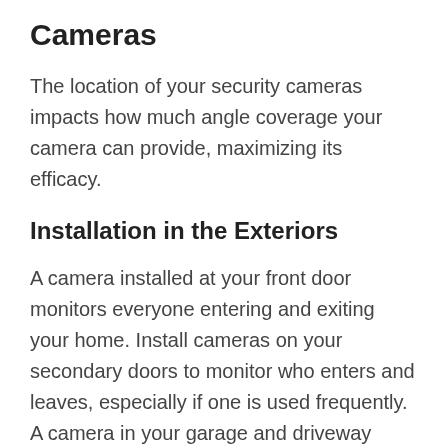Cameras
The location of your security cameras impacts how much angle coverage your camera can provide, maximizing its efficacy.
Installation in the Exteriors
A camera installed at your front door monitors everyone entering and exiting your home. Install cameras on your secondary doors to monitor who enters and leaves, especially if one is used frequently. A camera in your garage and driveway keeps an eye on your cars and